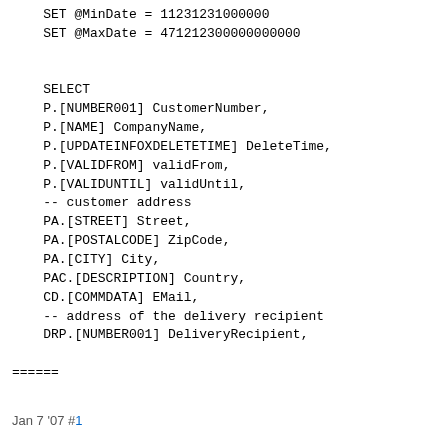SET @MinDate = 11231231000000
    SET @MaxDate = 471212300000000000


    SELECT
    P.[NUMBER001] CustomerNumber,
    P.[NAME] CompanyName,
    P.[UPDATEINFOXDELETETIME] DeleteTime,
    P.[VALIDFROM] validFrom,
    P.[VALIDUNTIL] validUntil,
    -- customer address
    PA.[STREET] Street,
    PA.[POSTALCODE] ZipCode,
    PA.[CITY] City,
    PAC.[DESCRIPTION] Country,
    CD.[COMMDATA] EMail,
    -- address of the delivery recipient
    DRP.[NUMBER001] DeliveryRecipient,
======
Jan 7 '07 #1